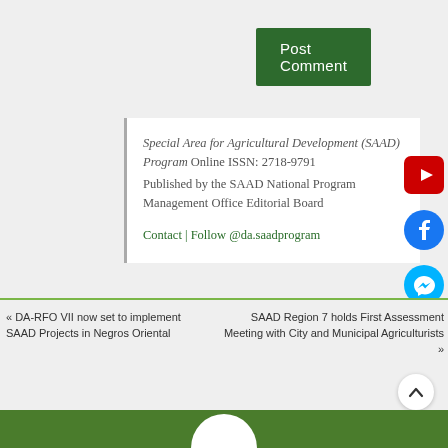Post Comment
Special Area for Agricultural Development (SAAD) Program Online ISSN: 2718-9791
Published by the SAAD National Program Management Office Editorial Board
Contact | Follow @da.saadprogram
[Figure (logo): YouTube red icon]
[Figure (logo): Facebook blue circle icon]
[Figure (logo): Messenger cyan circle icon]
« DA-RFO VII now set to implement SAAD Projects in Negros Oriental
SAAD Region 7 holds First Assessment Meeting with City and Municipal Agriculturists »